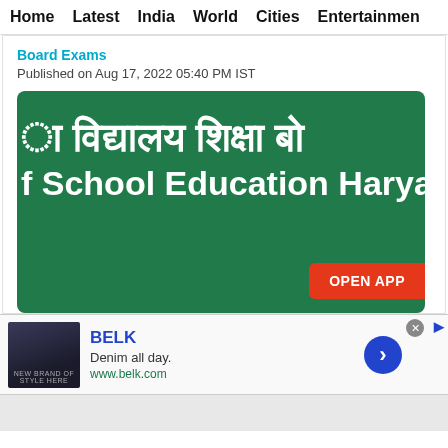Home  Latest  India  World  Cities  Entertainment
Board Exams
Published on Aug 17, 2022 05:40 PM IST
[Figure (photo): Green sign board of Board of School Education Haryana with Hindi text and English text 'f School Education Haryana' visible, with an 'OPEN APP' red button overlay]
BELK
Denim all day.
www.belk.com